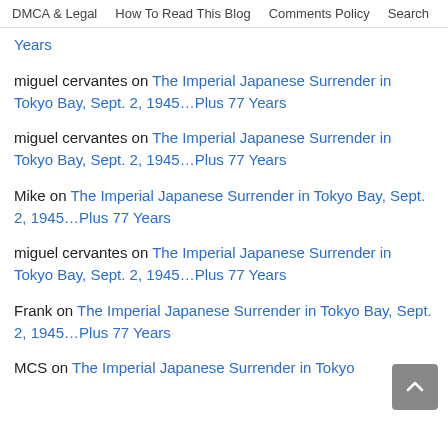DMCA & Legal  How To Read This Blog  Comments Policy  Search
Years
miguel cervantes on The Imperial Japanese Surrender in Tokyo Bay, Sept. 2, 1945…Plus 77 Years
miguel cervantes on The Imperial Japanese Surrender in Tokyo Bay, Sept. 2, 1945…Plus 77 Years
Mike on The Imperial Japanese Surrender in Tokyo Bay, Sept. 2, 1945…Plus 77 Years
miguel cervantes on The Imperial Japanese Surrender in Tokyo Bay, Sept. 2, 1945…Plus 77 Years
Frank on The Imperial Japanese Surrender in Tokyo Bay, Sept. 2, 1945…Plus 77 Years
MCS on The Imperial Japanese Surrender in Tokyo